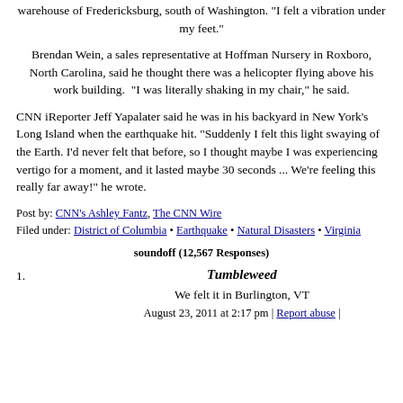warehouse of Fredericksburg, south of Washington. "I felt a vibration under my feet."
Brendan Wein, a sales representative at Hoffman Nursery in Roxboro, North Carolina, said he thought there was a helicopter flying above his work building.  "I was literally shaking in my chair," he said.
CNN iReporter Jeff Yapalater said he was in his backyard in New York's Long Island when the earthquake hit. "Suddenly I felt this light swaying of the Earth. I'd never felt that before, so I thought maybe I was experiencing vertigo for a moment, and it lasted maybe 30 seconds ... We're feeling this really far away!" he wrote.
Post by: CNN's Ashley Fantz, The CNN Wire
Filed under: District of Columbia • Earthquake • Natural Disasters • Virginia
soundoff (12,567 Responses)
1. Tumbleweed
We felt it in Burlington, VT
August 23, 2011 at 2:17 pm | Report abuse |